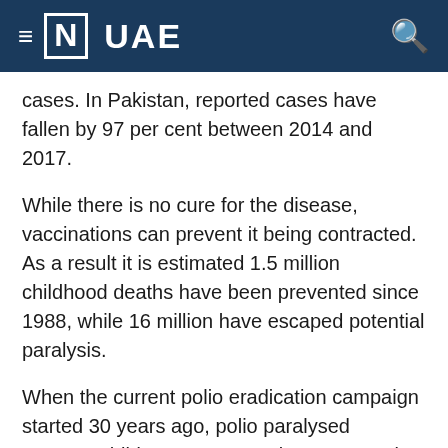≡ [N] UAE
cases. In Pakistan, reported cases have fallen by 97 per cent between 2014 and 2017.
While there is no cure for the disease, vaccinations can prevent it being contracted. As a result it is estimated 1.5 million childhood deaths have been prevented since 1988, while 16 million have escaped potential paralysis.
When the current polio eradication campaign started 30 years ago, polio paralysed 350,000 children every year, in 125 countries.
Through the UAE-Pakistan Alliance, the Emirates is working on the ground by funding 5,000 vaccinators, working in some of the